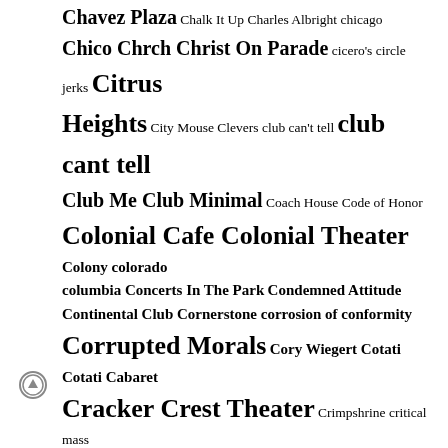Chavez Plaza Chalk It Up Charles Albright chicago Chico Chrch Christ On Parade cicero's circle jerks Citrus Heights City Mouse Clevers club can't tell club cant tell Club Me Club Minimal Coach House Code of Honor Colonial Cafe Colonial Theater Colony colorado columbia Concerts In The Park Condemned Attitude Continental Club Cornerstone corrosion of conformity Corrupted Morals Cory Wiegert Cotati Cotati Cabaret Cracker Crest Theater Crimpshrine critical mass Croissants Crucifix Crude Studs D.I. d.r.i. Dag Nasty dan's silverleaf danceteria danger inc Danny Secretion dark sun skypilot David Bowie Tribute David Houston Davis davis ca Davis Community Park Dead Dads Dead Kennedys Dead Pledge Deftones Demo den of sin denton Desario Destroy Boys Dickies Dimple Records Dinosaur Jr. discovery park Distillery Dr. Frank Dr. Know Drop Dead Red Drug Apts Earwigs Econochrist El Dorado Saloon Elk Grove empire events center england Entertainment Factory Eric